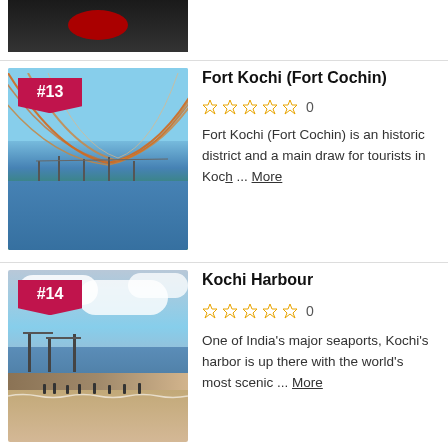[Figure (photo): Partial view of a previous listing item, dark background]
Fort Kochi (Fort Cochin)
0 (star rating)
Fort Kochi (Fort Cochin) is an historic district and a main draw for tourists in Koch ... More
[Figure (photo): Photo of Kochi Harbour with Chinese fishing nets, cranes, beach, cloudy sky]
Kochi Harbour
0 (star rating)
One of India's major seaports, Kochi's harbor is up there with the world's most scenic ... More